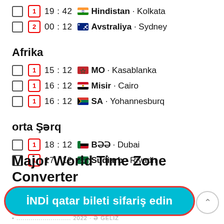1  19 : 42  Hindistan · Kolkata
2  00 : 12  Avstraliya · Sydney
Afrika
1  15 : 12  MO · Kasablanka
1  16 : 12  Misir · Cairo
1  16 : 12  SA · Yohannesburq
orta Şərq
1  18 : 12  BƏƏ · Dubai
1  17 : 12  Sudiarb · Riyadh
Major World Time Zone Converter
İNDİ qatar bileti sifariş edin